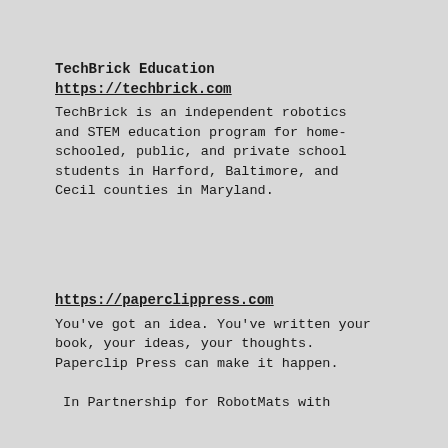TechBrick Education
https://techbrick.com
TechBrick is an independent robotics and STEM education program for home-schooled, public, and private school students in Harford, Baltimore, and Cecil counties in Maryland.
https://paperclippress.com
You've got an idea. You've written your book, your ideas, your thoughts. Paperclip Press can make it happen.
In Partnership for RobotMats with